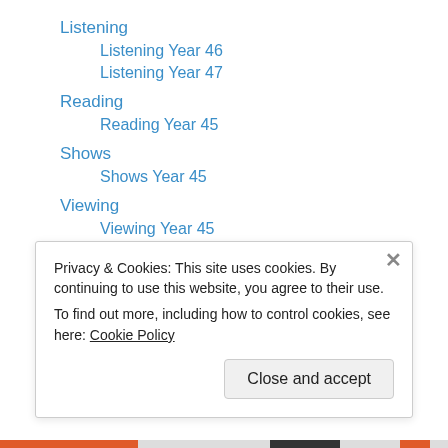Listening
Listening Year 46
Listening Year 47
Reading
Reading Year 45
Shows
Shows Year 45
Viewing
Viewing Year 45
Viewing Year 46
Viewing Year 47
Viewing Year 48
Viewing Year 49
Privacy & Cookies: This site uses cookies. By continuing to use this website, you agree to their use.
To find out more, including how to control cookies, see here: Cookie Policy
Close and accept